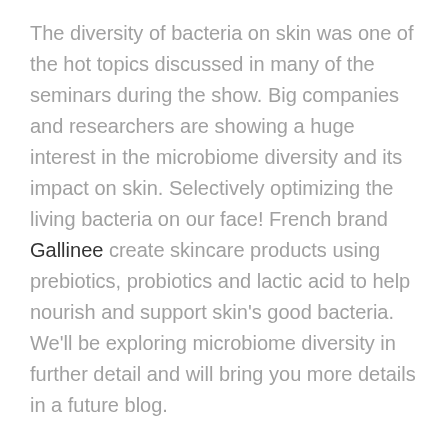The diversity of bacteria on skin was one of the hot topics discussed in many of the seminars during the show. Big companies and researchers are showing a huge interest in the microbiome diversity and its impact on skin. Selectively optimizing the living bacteria on our face! French brand Gallinee create skincare products using prebiotics, probiotics and lactic acid to help nourish and support skin's good bacteria. We'll be exploring microbiome diversity in further detail and will bring you more details in a future blog.
Beauty trend: Regional ingredients – arctic berries, Kalahari melon and baobab